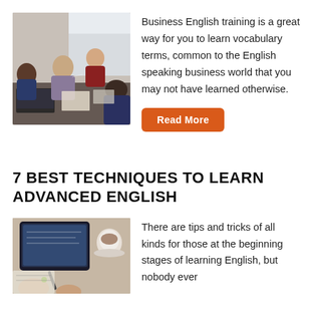[Figure (photo): Group of people in a business meeting, sitting around a table and talking, office environment]
Business English training is a great way for you to learn vocabulary terms, common to the English speaking business world that you may not have learned otherwise.
Read More
7 BEST TECHNIQUES TO LEARN ADVANCED ENGLISH
[Figure (photo): Person studying or writing at a desk with a tablet and coffee cup, viewed from above]
There are tips and tricks of all kinds for those at the beginning stages of learning English, but nobody ever